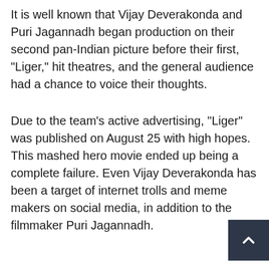It is well known that Vijay Deverakonda and Puri Jagannadh began production on their second pan-Indian picture before their first, "Liger," hit theatres, and the general audience had a chance to voice their thoughts.
Due to the team's active advertising, "Liger" was published on August 25 with high hopes. This mashed hero movie ended up being a complete failure. Even Vijay Deverakonda has been a target of internet trolls and meme makers on social media, in addition to the filmmaker Puri Jagannadh.